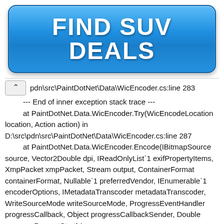[Figure (other): Blue rounded button with white bold text 'FIND SUV DEALS']
pdn\src\PaintDotNet\Data\WicEncoder.cs:line 283
--- End of inner exception stack trace ---
   at PaintDotNet.Data.WicEncoder.Try(WicEncodeLocation location, Action action) in
D:\src\pdn\src\PaintDotNet\Data\WicEncoder.cs:line 287
   at PaintDotNet.Data.WicEncoder.Encode(IBitmapSource source, Vector2Double dpi, IReadOnlyList`1 exifPropertyItems, XmpPacket xmpPacket, Stream output, ContainerFormat containerFormat, Nullable`1 preferredVendor, IEnumerable`1 encoderOptions, IMetadataTranscoder metadataTranscoder, WriteSourceMode writeSourceMode, ProgressEventHandler progressCallback, Object progressCallbackSender, Double progressPercentStart) in
D:\src\pdn\src\PaintDotNet\Data\WicEncoder.cs:line 267
   at PaintDotNet.Data.WicEncoder.Encode(WicEncodeParameters parameters) in
D:\src\pdn\src\PaintDotNet\Data\WicEncoder.cs:line 137
   at PaintDotNet.Data.WicEncoder.Encode() in